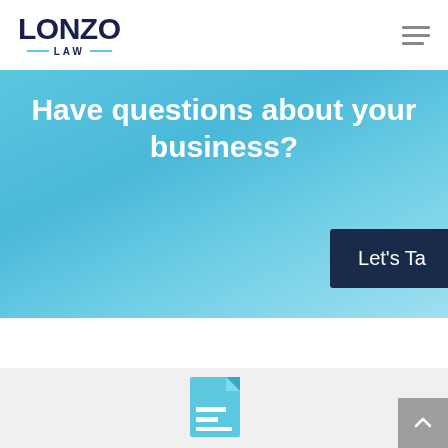[Figure (logo): Lonzo Law logo with stylized text and teal decorative lines]
Have questions about your business?
Let's Ta
[Figure (illustration): Document/file icon in light blue on gray background]